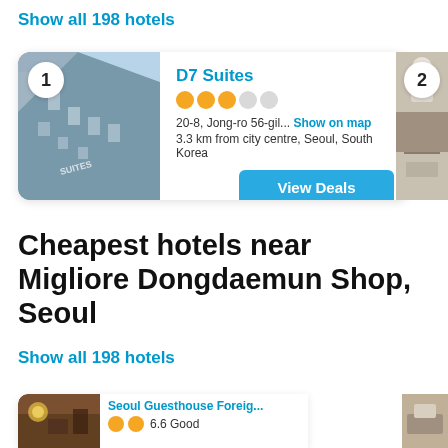Show all 198 hotels
[Figure (screenshot): Hotel card for D7 Suites showing building exterior photo with badge number 1, 3-star rating (3 filled, 2 empty circles), address '20-8, Jong-ro 56-gil... Show on map', location '3.3 km from city centre, Seoul, South Korea', and a 'View Deals' blue button. Partially visible second hotel card with room photo and badge number 2 on the right.]
Cheapest hotels near Migliore Dongdaemun Shop, Seoul
Show all 198 hotels
[Figure (screenshot): Partial hotel card for Seoul Guesthouse Foreig... showing outdoor/entrance photo with badge, 2 filled star circles, and rating '6.6 Good'. Partial second hotel thumbnail on the right.]